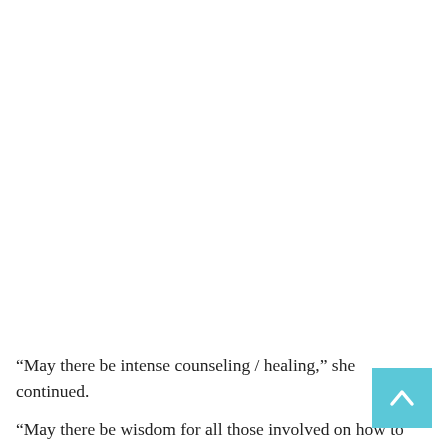“May there be intense counseling / healing,” she continued.
“May there be wisdom for all those involved on how to move